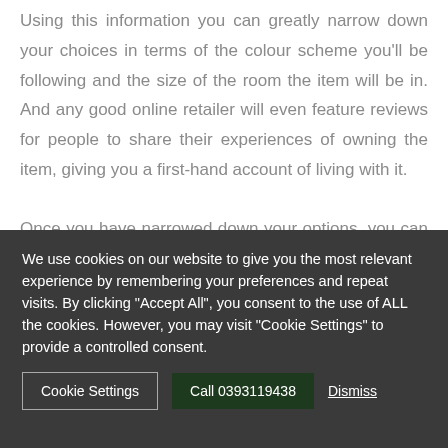Using this information you can greatly narrow down your choices in terms of the colour scheme you'll be following and the size of the room the item will be in. And any good online retailer will even feature reviews for people to share their experiences of owning the item, giving you a first-hand account of living with it.

Once you have narrowed down your options, you can then visit your closest retail store and see the item up
We use cookies on our website to give you the most relevant experience by remembering your preferences and repeat visits. By clicking "Accept All", you consent to the use of ALL the cookies. However, you may visit "Cookie Settings" to provide a controlled consent.
Cookie Settings   Call 0393119438   Dismiss